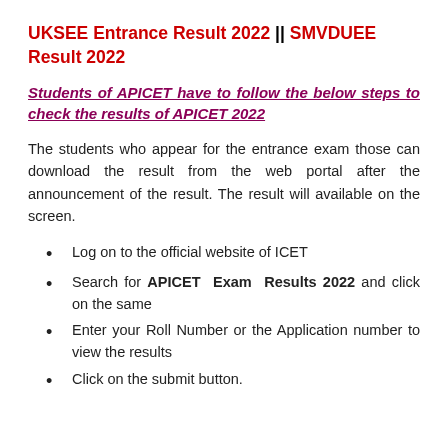UKSEE Entrance Result 2022 || SMVDUEE Result 2022
Students of APICET have to follow the below steps to check the results of APICET 2022
The students who appear for the entrance exam those can download the result from the web portal after the announcement of the result. The result will available on the screen.
Log on to the official website of ICET
Search for APICET Exam Results 2022 and click on the same
Enter your Roll Number or the Application number to view the results
Click on the submit button.